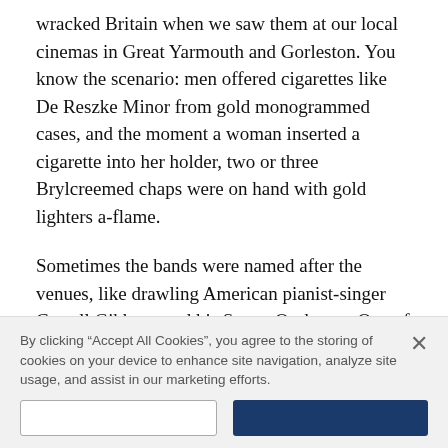wracked Britain when we saw them at our local cinemas in Great Yarmouth and Gorleston. You know the scenario: men offered cigarettes like De Reszke Minor from gold monogrammed cases, and the moment a woman inserted a cigarette into her holder, two or three Brylcreemed chaps were on hand with gold lighters a-flame.
Sometimes the bands were named after the venues, like drawling American pianist-singer Carroll Gibbons and his Savoy Orpheans. One of the bands to emerge during the war was distinctive because it featured Latin-American music, and was formed and led by Trinidadian Edmundo Ros. It followed the pattern, playing at the Coconut Grove Club and Bagatelle...
By clicking “Accept All Cookies”, you agree to the storing of cookies on your device to enhance site navigation, analyze site usage, and assist in our marketing efforts.